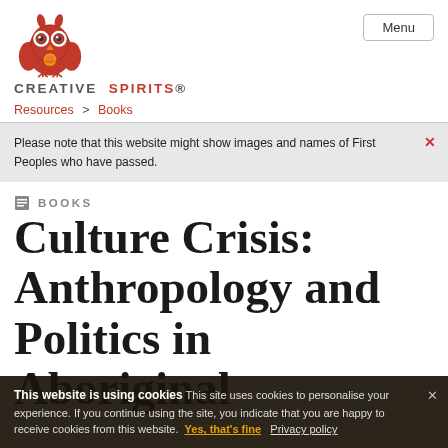CREATIVE SPIRITS® | Menu
Resources > Books
Please note that this website might show images and names of First Peoples who have passed.
BOOKS
Culture Crisis: Anthropology and Politics in Aboriginal Australia
This website is using cookies This site uses cookies to personalise your experience. If you continue using the site, you indicate that you are happy to receive cookies from this website. Yes, that's fine Privacy policy